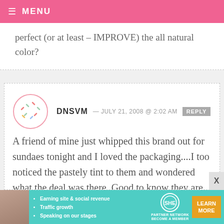MENU
perfect (or at least – IMPROVE) the all natural color?
DNSVM — JULY 21, 2008 @ 2:02 AM   REPLY
A friend of mine just whipped this brand out for sundaes tonight and I loved the packaging....I too noticed the pastely tint to them and wondered what the deal was there. Good to know they are trying to be healthy, but at the cost of brightness???!!?? I vote for the
[Figure (other): Advertisement banner for SHE Partner Network showing a woman's photo, bullet points about earning site & social revenue, traffic growth, speaking on our stages, SHE logo, and a Learn More button]